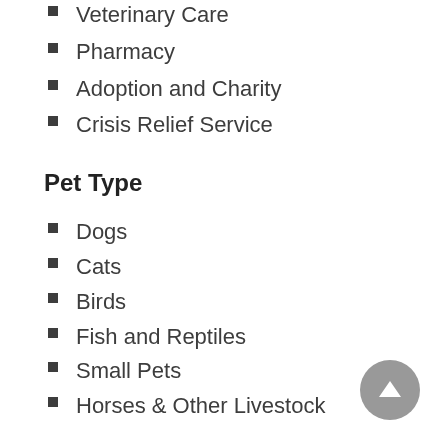Veterinary Care
Pharmacy
Adoption and Charity
Crisis Relief Service
Pet Type
Dogs
Cats
Birds
Fish and Reptiles
Small Pets
Horses & Other Livestock
Sales Channel